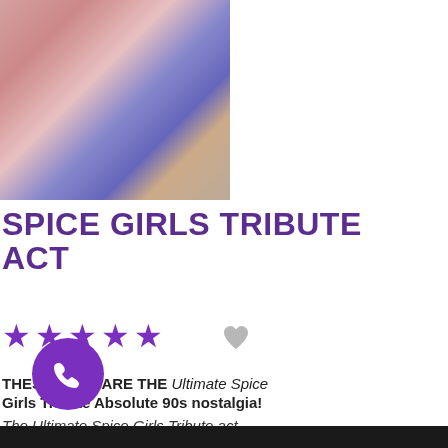[Figure (photo): Spice Girls tribute act performers in costume, partially cropped showing lower body/outfits including Union Jack dress]
SPICE GIRLS TRIBUTE ACT
[Figure (other): Five purple star rating icons and a heart/favorite icon]
THESE GALS ARE THE Ultimate Spice Girls Tribute Absolute 90s nostalgia!
The Ultimate Spice Girls Tribute act
emulate the latest line up of the most
Read more...
ren and world-best of the Spice Girls
[Figure (other): Purple circular phone/call button icon at bottom left]